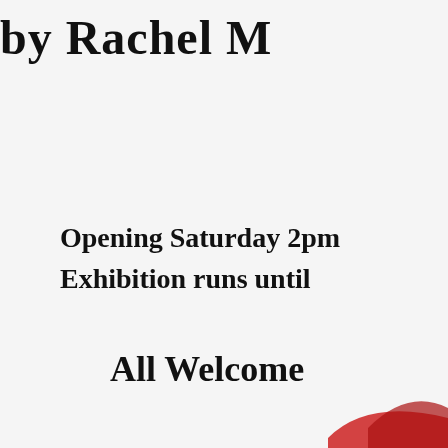by Rachel M
Opening Saturday 2pm
Exhibition runs until
All Welcome